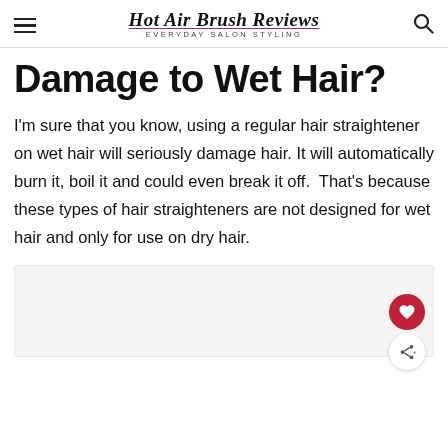Hot Air Brush Reviews — EVERYDAY SALON STYLING
Damage to Wet Hair?
I'm sure that you know, using a regular hair straightener on wet hair will seriously damage hair. It will automatically burn it, boil it and could even break it off.  That's because these types of hair straighteners are not designed for wet hair and only for use on dry hair.
[Figure (other): Light gray image placeholder area at the bottom of the page, with a red heart FAB button and a white share FAB button overlaid on the right side.]